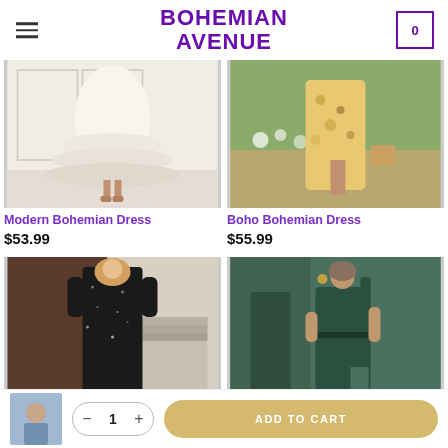BOHEMIAN AVENUE
[Figure (photo): White layered tiered dress on a woman, modern bohemian style]
Modern Bohemian Dress
$53.99
[Figure (photo): Floral print bohemian dress on a woman outdoors]
Boho Bohemian Dress
$55.99
[Figure (photo): Black sequin long-sleeve bohemian dress on a woman indoors]
[Figure (photo): Green one-shoulder formal/bohemian dress on women in a mirror setting]